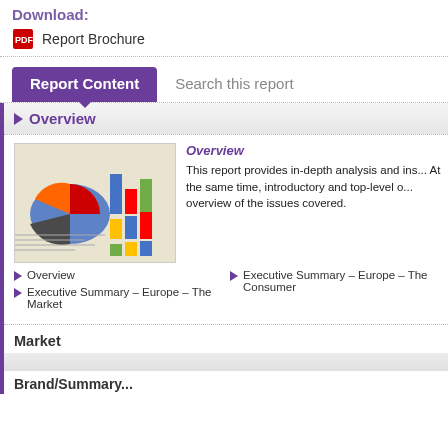Download:
Report Brochure
Report Content
Search this report
Overview
[Figure (photo): Photo of business charts and graphs including bar charts and pie charts on printed report pages]
Overview
This report provides in-depth analysis and ins... At the same time, introductory and top-level o... overview of the issues covered.
Overview
Executive Summary – Europe – The Market
Executive Summary – Europe – The Consumer
Market
Brand/Summary...